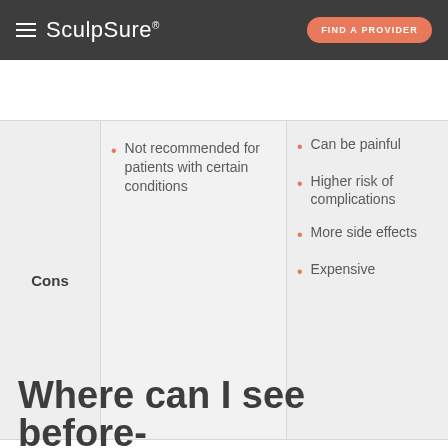SculpSure® | FIND A PROVIDER
|  | SculpSure | Competitor |
| --- | --- | --- |
| Cons | Not recommended for patients with certain conditions | Can be painful | Higher risk of complications | More side effects | Expensive |
Where can I see before-